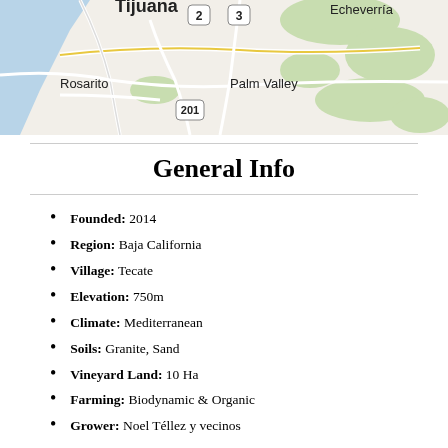[Figure (map): Street map showing Tijuana area with Rosarito, Palm Valley, Echeverria, and route markers 2, 3, 201 visible. Map includes roads, green areas, and coastal blue region.]
General Info
Founded: 2014
Region: Baja California
Village: Tecate
Elevation: 750m
Climate: Mediterranean
Soils: Granite, Sand
Vineyard Land: 10 Ha
Farming: Biodynamic & Organic
Grower: Noel Téllez y vecinos
[Figure (logo): Instagram icon in golden/olive circle]